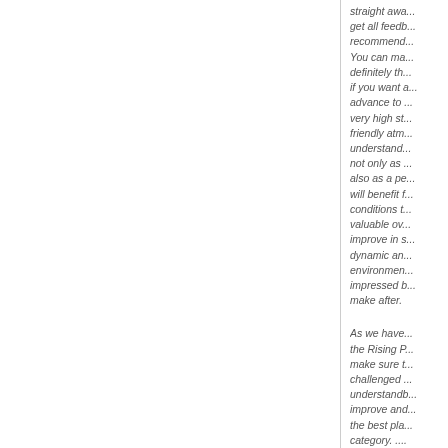straight awa... get all feedb... recommend... You can ma... definitely th... if you want a... advance to ... very high st... friendly atm... understand... not only as ... also as a pe... will benefit f... conditions t... valuable ov... improve in s... dynamic an... environmen... impressed b... make after. As we have... the Rising P... make sure t... challenged ... understandb... improve and... the best pla... category. ... improve qui... d i th...